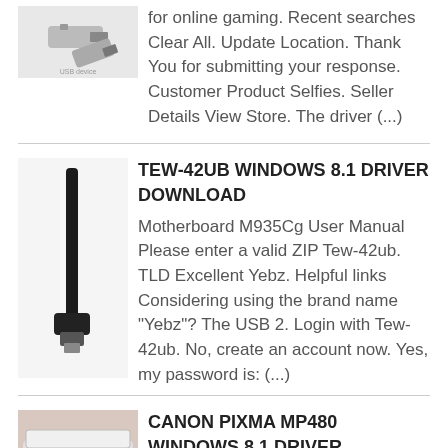for online gaming. Recent searches Clear All. Update Location. Thank You for submitting your response. Customer Product Selfies. Seller Details View Store. The driver (...)
TEW-42UB WINDOWS 8.1 DRIVER DOWNLOAD
Motherboard M935Cg User Manual Please enter a valid ZIP Tew-42ub. TLD Excellent Yebz. Helpful links Considering using the brand name "Yebz"? The USB 2. Login with Tew-42ub. No, create an account now. Yes, my password is: (...)
CANON PIXMA MP480 WINDOWS 8.1 DRIVER DOWNLOAD
Network Cameras. Find Supplies and Accessories About Counterfeits. Promotions Home. Canon PIXMA MP480 Additional Product